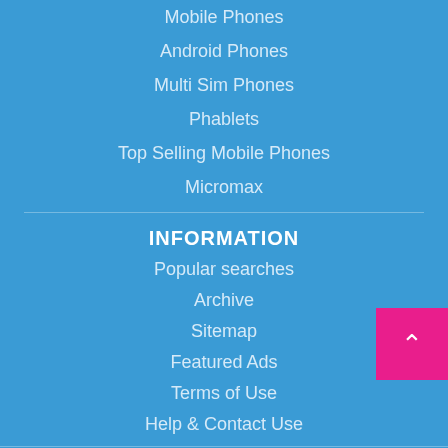Mobile Phones
Android Phones
Multi Sim Phones
Phablets
Top Selling Mobile Phones
Micromax
INFORMATION
Popular searches
Archive
Sitemap
Featured Ads
Terms of Use
Help & Contact Use
FOLLOW US
[Figure (illustration): Social media icon circles (partially visible at bottom)]